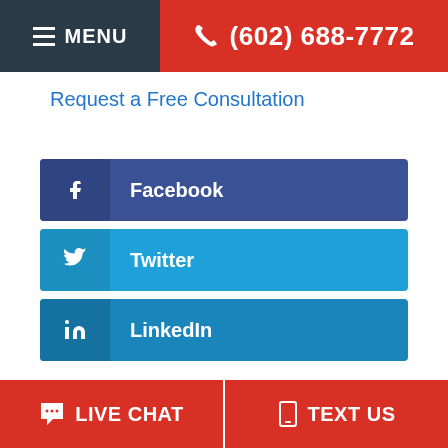MENU  (602) 688-7772
Request a Free Consultation
[Figure (infographic): Three social media share buttons: Facebook (dark blue), Twitter (light blue), LinkedIn (medium blue), each with icon and label]
LIVE CHAT  TEXT US